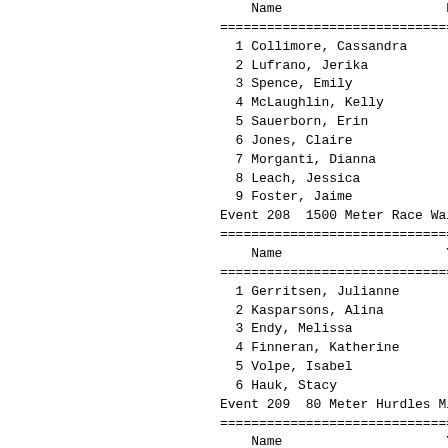| Name | Ye... |
| --- | --- |
| 1 Collimore, Cassandra |  |
| 2 Lufrano, Jerika |  |
| 3 Spence, Emily |  |
| 4 McLaughlin, Kelly |  |
| 5 Sauerborn, Erin |  |
| 6 Jones, Claire |  |
| 7 Morganti, Dianna |  |
| 8 Leach, Jessica |  |
| 9 Foster, Jaime |  |
Event 208  1500 Meter Race Wal
| Name | Ye... |
| --- | --- |
| 1 Gerritsen, Julianne |  |
| 2 Kasparsons, Alina |  |
| 3 Endy, Melissa |  |
| 4 Finneran, Katherine |  |
| 5 Volpe, Isabel |  |
| 6 Hauk, Stacy |  |
Event 209  80 Meter Hurdles Mi
| Name | Ye... |
| --- | --- |
| Preliminaries |  |
| 1 Stone, Mikayla |  |
| 2 Stenberg, Megan |  |
| 3 Austin, Kendall |  |
| 4 Creedon, Jessica |  |
| 5 French, Ciara |  |